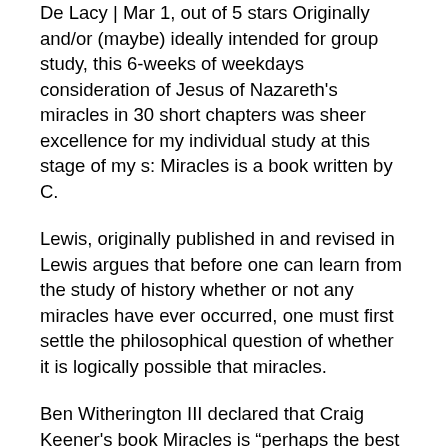De Lacy | Mar 1, out of 5 stars Originally and/or (maybe) ideally intended for group study, this 6-weeks of weekdays consideration of Jesus of Nazareth's miracles in 30 short chapters was sheer excellence for my individual study at this stage of my s: Miracles is a book written by C.
Lewis, originally published in and revised in Lewis argues that before one can learn from the study of history whether or not any miracles have ever occurred, one must first settle the philosophical question of whether it is logically possible that miracles.
Ben Witherington III declared that Craig Keener's book Miracles is “perhaps the best book ever written on miracles in this or any age” (73), so it makes sense that Strobel interviewed him next. Keener didn’t set out to become an expert on miracles, but a two hundred page footnote in his Acts commentary led him to pursue the topic further.
Buy a cheap copy of Study of the Miracles book by Ada R. Habershon. An attempt to collect from Scripture the innumerable proofs of God's all